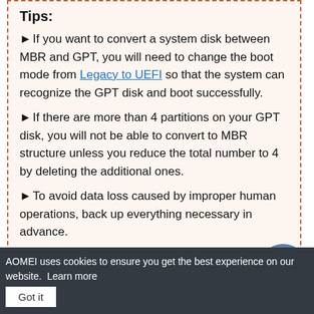Tips:
If you want to convert a system disk between MBR and GPT, you will need to change the boot mode from Legacy to UEFI so that the system can recognize the GPT disk and boot successfully.
If there are more than 4 partitions on your GPT disk, you will not be able to convert to MBR structure unless you reduce the total number to 4 by deleting the additional ones.
To avoid data loss caused by improper human operations, back up everything necessary in advance.
If you plan to convert GPT to MBR, follow the instruction:
AOMEI uses cookies to ensure you get the best experience on our website. Learn more  Got it